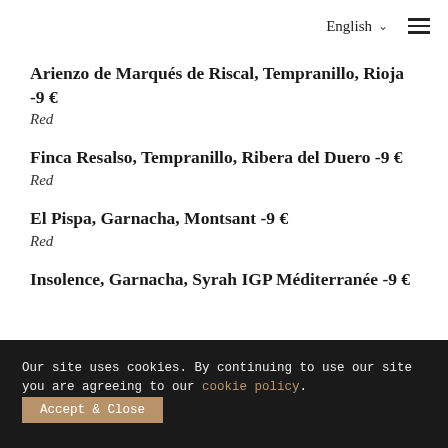English ∨ ≡
Arienzo de Marqués de Riscal, Tempranillo, Rioja -9 €
Red
Finca Resalso, Tempranillo, Ribera del Duero -9 €
Red
El Pispa, Garnacha, Montsant -9 €
Red
Insolence, Garnacha, Syrah IGP Méditerranée -9 €
Our site uses cookies. By continuing to use our site you are agreeing to our cookie policy. Accept & Close